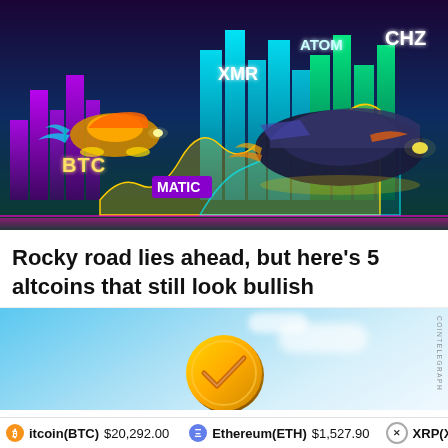[Figure (illustration): Stylized neon cyberpunk illustration showing two futuristic cars flying over a glowing cityscape with crypto ticker labels: BTC, MATIC, XMR, ATOM, CHZ on neon buildings and bar charts]
Rocky road lies ahead, but here’s 5 altcoins that still look bullish
[Figure (illustration): Partial image of a gold cryptocurrency coin with a checkmark logo against a blue sky background, with COINTELEGRAPH watermark]
Bitcoin(BTC) $20,292.00   Ethereum(ETH) $1,527.90   XRP(XRP